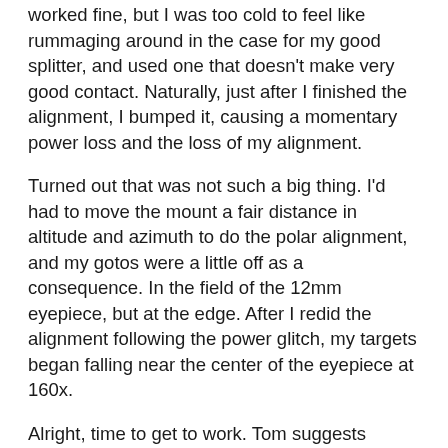worked fine, but I was too cold to feel like rummaging around in the case for my good splitter, and used one that doesn't make very good contact. Naturally, just after I finished the alignment, I bumped it, causing a momentary power loss and the loss of my alignment.
Turned out that was not such a big thing. I'd had to move the mount a fair distance in altitude and azimuth to do the polar alignment, and my gotos were a little off as a consequence. In the field of the 12mm eyepiece, but at the edge. After I redid the alignment following the power glitch, my targets began falling near the center of the eyepiece at 160x.
Alright, time to get to work. Tom suggests starting with Vega or another bright A-type star when you are new to RSpec. The hydrogen beta line used to calibrate RSpec is strong and obvious in A stars. Alas, Vega was now within 10-degrees of the horizon, and given the seeing—even higher stars were twinkling like mad—was a no-go. What then? Rigel was perfectly placed in the east. He's not an A, he's a B, and the Balmer lines are weaker in his spectrum, but I